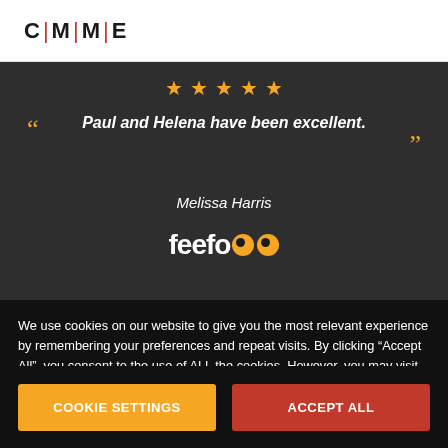[Figure (logo): CMME logo with red vertical bar separators between letters C M M E]
[Figure (screenshot): Dark overlay hero section with 5 gold stars, quote text 'Paul and Helena have been excellent.' attributed to Melissa Harris, with Feefo logo]
We use cookies on our website to give you the most relevant experience by remembering your preferences and repeat visits. By clicking “Accept All”, you consent to the use of ALL the cookies. However, you may visit “Cookie Settings” to provide a controlled consent.
COOKIE SETTINGS
ACCEPT ALL